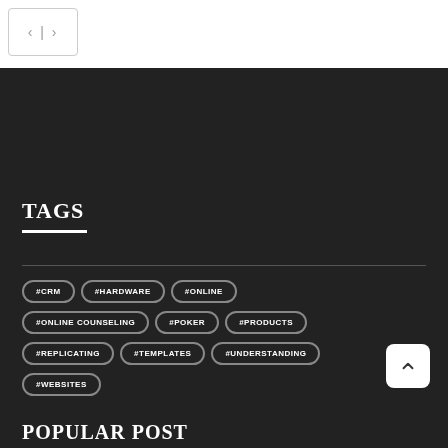[Figure (other): Navigation arrows box with left and right arrows]
TAGS
#CRM
#HARDWARE
#ONLINE
#ONLINE COUNSELING
#POKER
#PRODUCTS
#REPLICATING
#TEMPLATES
#UNDERSTANDING
#WEBSITES
POPULAR POST